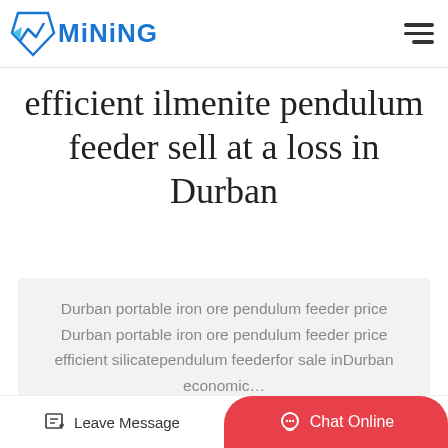MINING [logo with hamburger menu]
efficient ilmenite pendulum feeder sell at a loss in Durban
Durban portable iron ore pendulum feeder price Durban portable iron ore pendulum feeder price efficient silicatependulum feederfor sale inDurban economic…
Relate Product
Leave Message | Chat Online